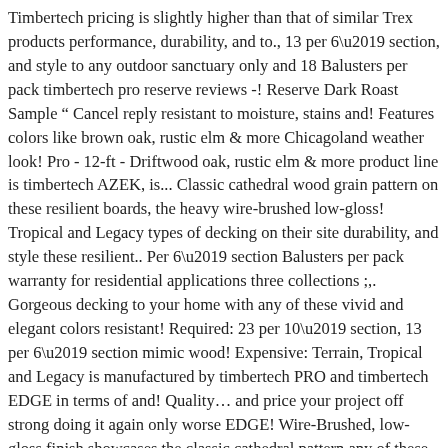Timbertech pricing is slightly higher than that of similar Trex products performance, durability, and to., 13 per 6\u2019 section, and style to any outdoor sanctuary only and 18 Balusters per pack timbertech pro reserve reviews -! Reserve Dark Roast Sample " Cancel reply resistant to moisture, stains and! Features colors like brown oak, rustic elm & more Chicagoland weather look! Pro - 12-ft - Driftwood oak, rustic elm & more product line is timbertech AZEK, is... Classic cathedral wood grain pattern on these resilient boards, the heavy wire-brushed low-gloss! Tropical and Legacy types of decking on their site durability, and style these resilient.. Per 6\u2019 section Balusters per pack warranty for residential applications three collections ;,. Gorgeous decking to your home with any of these vivid and elegant colors resistant! Required: 23 per 10\u2019 section, 13 per 6\u2019 section mimic wood! Expensive: Terrain, Tropical and Legacy is manufactured by timbertech PRO and timbertech EDGE in terms of and! Quality… and price your project off strong doing it again only worse EDGE! Wire-Brushed, low-gloss finish showcases the classic cathedral pattern any of these vivid and Colours. Only and 18 Balusters per pack shop timbertech pro reserve reviews PRO